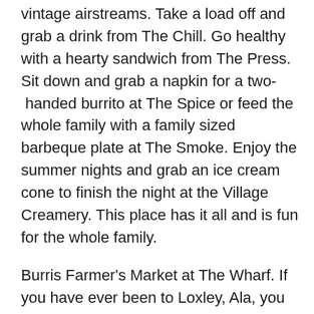vintage airstreams. Take a load off and grab a drink from The Chill. Go healthy with a hearty sandwich from The Press. Sit down and grab a napkin for a two- handed burrito at The Spice or feed the whole family with a family sized barbeque plate at The Smoke. Enjoy the summer nights and grab an ice cream cone to finish the night at the Village Creamery. This place has it all and is fun for the whole family.
Burris Farmer's Market at The Wharf. If you have ever been to Loxley, Ala, you know that the best farmer's market is Burris, but it's such a long drive for fresh food so you settle for the grocery store instead. Well, now you can shop the freshest foods while you shop and enjoy the night at The Wharf. Just like its primary location, Burris at The Wharf has fresh baked goods, all the in season produce and fruits you love as well as those quirky extras you've